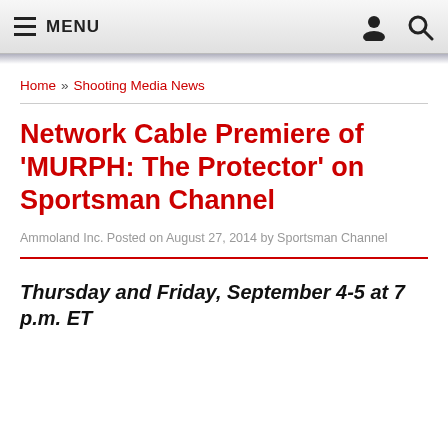≡ MENU
Home » Shooting Media News
Network Cable Premiere of 'MURPH: The Protector' on Sportsman Channel
Ammoland Inc. Posted on August 27, 2014 by Sportsman Channel
Thursday and Friday, September 4-5 at 7 p.m. ET